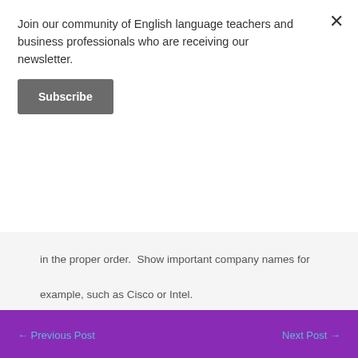Join our community of English language teachers and business professionals who are receiving our newsletter.
Subscribe
in the proper order.  Show important company names for example, such as Cisco or Intel.
← Previous Post
Next Post →
Leave a Comment
Your email address will not be published. Required fields are marked *